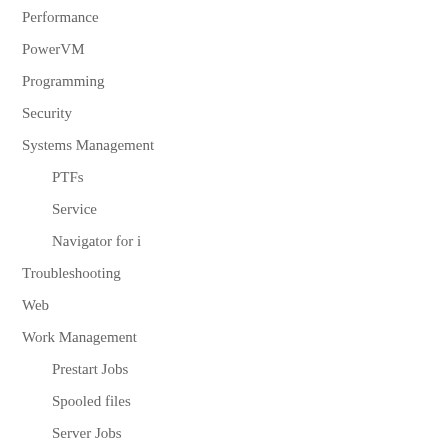Performance
PowerVM
Programming
Security
Systems Management
PTFs
Service
Navigator for i
Troubleshooting
Web
Work Management
Prestart Jobs
Spooled files
Server Jobs